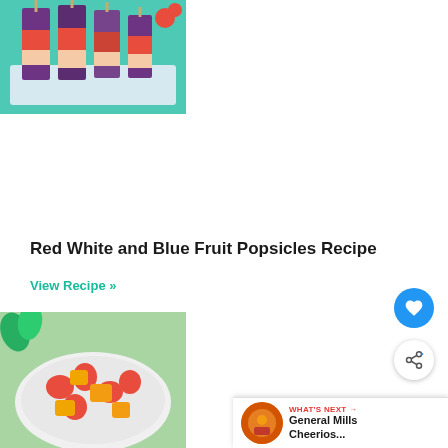[Figure (photo): Red white and blue fruit popsicles in a teal tray filled with ice]
Red White and Blue Fruit Popsicles Recipe
View Recipe »
[Figure (photo): Bowl of mixed fruit salad with strawberries and mango]
WHAT'S NEXT → General Mills Cheerios...